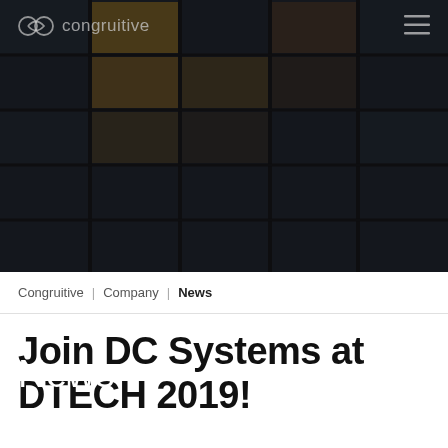[Figure (photo): Dark glass building facade serving as website hero banner background, with a grid of dark panels and some illuminated amber-toned windows in the upper-center area]
congruitive [logo] [hamburger menu icon]
News
Congruitive | Company | News
Join DC Systems at DTECH 2019!